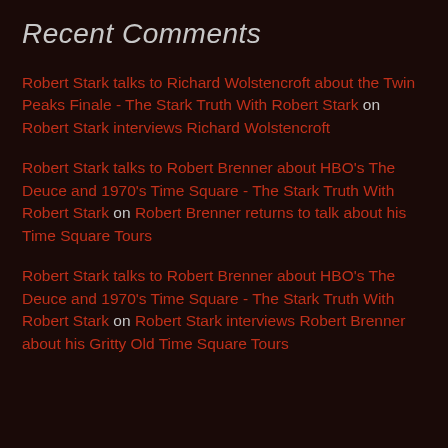Recent Comments
Robert Stark talks to Richard Wolstencroft about the Twin Peaks Finale - The Stark Truth With Robert Stark on Robert Stark interviews Richard Wolstencroft
Robert Stark talks to Robert Brenner about HBO's The Deuce and 1970's Time Square - The Stark Truth With Robert Stark on Robert Brenner returns to talk about his Time Square Tours
Robert Stark talks to Robert Brenner about HBO's The Deuce and 1970's Time Square - The Stark Truth With Robert Stark on Robert Stark interviews Robert Brenner about his Gritty Old Time Square Tours